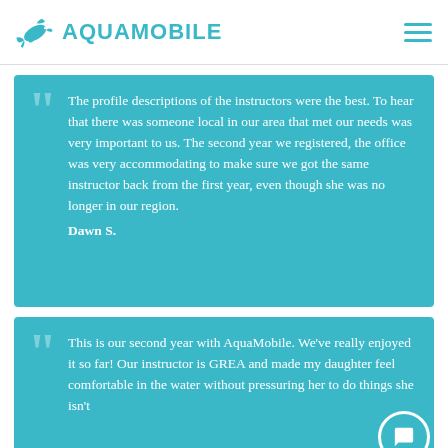AQUAMOBILE
The profile descriptions of the instructors were the best. To hear that there was someone local in our area that met our needs was very important to us. The second year we registered, the office was very accommodating to make sure we got the same instructor back from the first year, even though she was no longer in our region. Dawn S.
This is our second year with AquaMobile. We've really enjoyed it so far! Our instructor is GREA and made my daughter feel comfortable in the water without pressuring her to do things she isn't